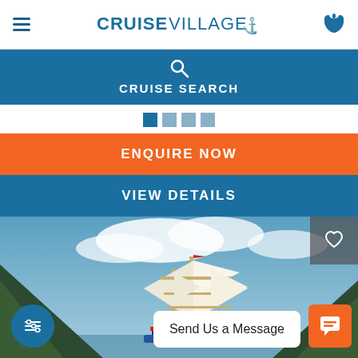CRUISE VILLAGE
CRUISE SEARCH
ENQUIRE NOW
VIEW DETAILS
[Figure (photo): A tall sailing ship with white sails at sea, with dramatic rocky mountains (Pitons of St Lucia) in the background under a partly cloudy sky.]
Send Us a Message